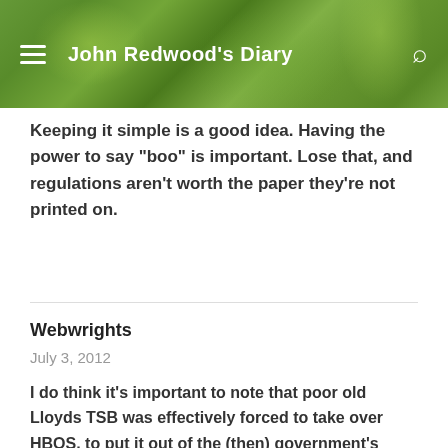John Redwood's Diary
Keeping it simple is a good idea. Having the power to say “boo” is important. Lose that, and regulations aren’t worth the paper they’re not printed on.
Webwrights
July 3, 2012
I do think it’s important to note that poor old Lloyds TSB was effectively forced to take over HBOS, to put it out of the (then) government’s misery. Under Brian Pitman, Eric Daniels and their senior colleagues it was always the most prudent and tightly-run of all the big banks. Almost uniquely among directors of the big banks, Daniels was a banker; and a very